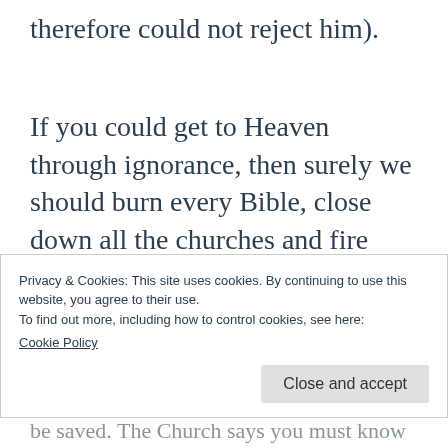therefore could not reject him).
If you could get to Heaven through ignorance, then surely we should burn every Bible, close down all the churches and fire every priest. If no one knows about Jesus, then no one can reject him, then all of us, adults and children,
Privacy & Cookies: This site uses cookies. By continuing to use this website, you agree to their use.
To find out more, including how to control cookies, see here:
Cookie Policy
Close and accept
be saved. The Church says you must know